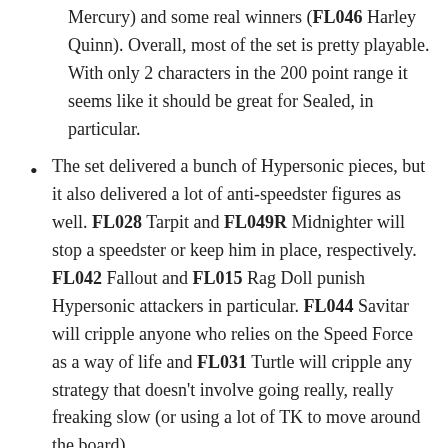Mercury) and some real winners (FL046 Harley Quinn). Overall, most of the set is pretty playable. With only 2 characters in the 200 point range it seems like it should be great for Sealed, in particular.
The set delivered a bunch of Hypersonic pieces, but it also delivered a lot of anti-speedster figures as well. FL028 Tarpit and FL049R Midnighter will stop a speedster or keep him in place, respectively. FL042 Fallout and FL015 Rag Doll punish Hypersonic attackers in particular. FL044 Savitar will cripple anyone who relies on the Speed Force as a way of life and FL031 Turtle will cripple any strategy that doesn't involve going really, really freaking slow (or using a lot of TK to move around the board).
On the negative side, wouldn't it have been fun if